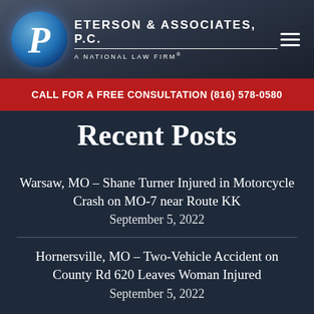[Figure (logo): Peterson & Associates, P.C. – A National Law Firm logo with globe icon and stylized P]
CALL FOR A FREE CONSULTATION (816) 578-0580
Recent Posts
Warsaw, MO – Shane Turner Injured in Motorcycle Crash on MO-7 near Route KK
September 5, 2022
Hornersville, MO – Two-Vehicle Accident on County Rd 620 Leaves Woman Injured September 5, 2022